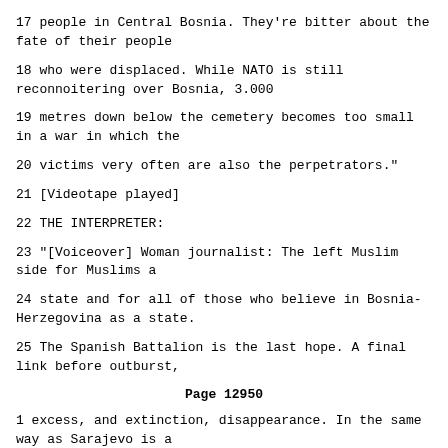17 people in Central Bosnia. They're bitter about the fate of their people
18 who were displaced. While NATO is still reconnoitering over Bosnia, 3.000
19 metres down below the cemetery becomes too small in a war in which the
20 victims very often are also the perpetrators."
21 [Videotape played]
22 THE INTERPRETER:
23 "[Voiceover] Woman journalist: The left Muslim side for Muslims a
24 state and for all of those who believe in Bosnia-Herzegovina as a state.
25 The Spanish Battalion is the last hope. A final link before outburst,
Page 12950
1 excess, and extinction, disappearance. In the same way as Sarajevo is a
2 symbol for Bosnia, Mostar is a symbol for a multi-ethnic community. Serbs